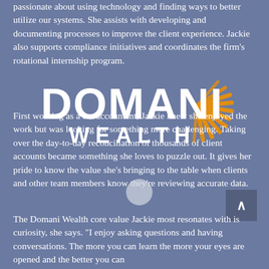passionate about using technology and finding ways to better utilize our systems. She assists with developing and documenting processes to improve the client experience. Jackie also supports compliance initiatives and coordinates the firm's rotational internship program.
[Figure (logo): DOMANI WEALTH logo with orange sunburst rays on right side, white text on blue-gray background]
First working as a tax accountant, Jackie knew she enjoyed the work but was looking for something more challenging. Taking over the day-to-day reconciliation of thousands of client accounts became something she loves to puzzle out. It gives her pride to know the value she's bringing to the table when clients and other team members know they're reviewing accurate data.
The Domani Wealth core value Jackie most resonates with is curiosity, she says. "I enjoy asking questions and having conversations. The more you can learn the more your eyes are opened and the better you can